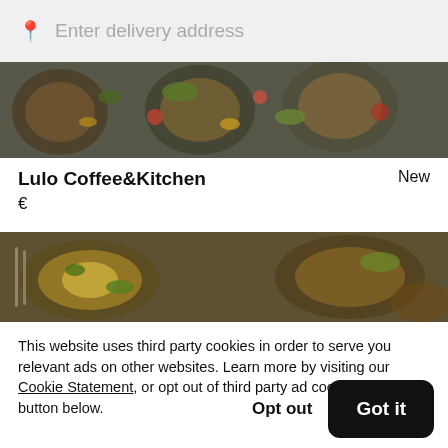Enter delivery address
[Figure (photo): Food photo showing colorful dishes with vegetables from above, darkened overlay]
Lulo Coffee&Kitchen
New
€
[Figure (photo): Food photo showing egg dishes and other foods on plates, darkened overlay]
This website uses third party cookies in order to serve you relevant ads on other websites. Learn more by visiting our Cookie Statement, or opt out of third party ad cookies using the button below.
Opt out
Got it